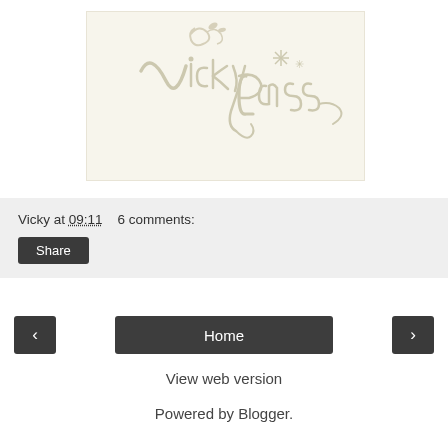[Figure (logo): Decorative logo/signature reading 'Vicky Pass' in ornate cursive script with floral flourishes, rendered in cream/beige on a white background]
Vicky at 09:11    6 comments:
Share
< Home >
View web version
Powered by Blogger.